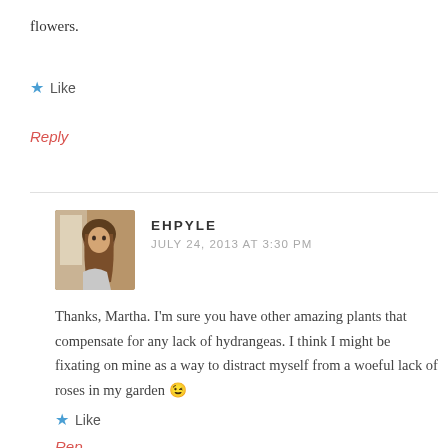flowers.
★ Like
Reply
EHPYLE
JULY 24, 2013 AT 3:30 PM
[Figure (photo): Avatar photo of EHPYLE, a person with long brown hair inside a car]
Thanks, Martha. I'm sure you have other amazing plants that compensate for any lack of hydrangeas. I think I might be fixating on mine as a way to distract myself from a woeful lack of roses in my garden 😉
★ Like
Reply